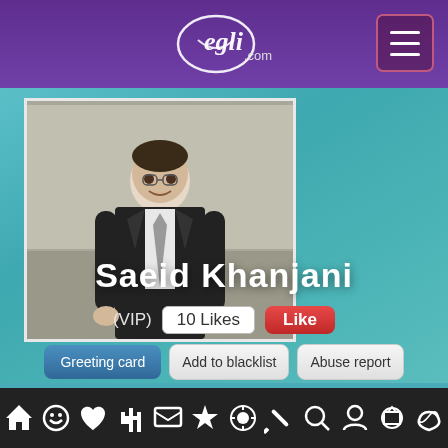[Figure (screenshot): Wegli.com social networking app screenshot showing user profile page for Saeid Khanjani (VIP) with 10 Likes, action buttons (Greeting card, Add to blacklist, Abuse report, Send Message, Chat with this person, Add as a friend), navigation bar at bottom, and purple header with Wegli logo.]
Saeid  Khanjani
(VIP)  10 Likes  Like
Greeting card  Add to blacklist  Abuse report
Send Message  Chat with this person  Add as a friend